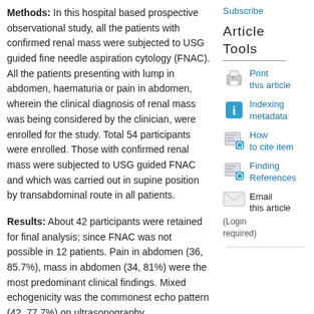Methods: In this hospital based prospective observational study, all the patients with confirmed renal mass were subjected to USG guided fine needle aspiration cytology (FNAC). All the patients presenting with lump in abdomen, haematuria or pain in abdomen, wherein the clinical diagnosis of renal mass was being considered by the clinician, were enrolled for the study. Total 54 participants were enrolled. Those with confirmed renal mass were subjected to USG guided FNAC and which was carried out in supine position by transabdominal route in all patients.
Results: About 42 participants were retained for final analysis; since FNAC was not possible in 12 patients. Pain in abdomen (36, 85.7%), mass in abdomen (34, 81%) were the most predominant clinical findings. Mixed echogenicity was the commonest echo pattern (42, 77.7%) on ultrasonography. Histopathologic/cytologic examination of the 39 malignant cases confirmed renal cell carcinoma (18, 46.5%) to be the commonest malignancy, followed by Wilms'
Subscribe
Article Tools
Print this article
Indexing metadata
How to cite item
Finding References
Email this article (Login required)